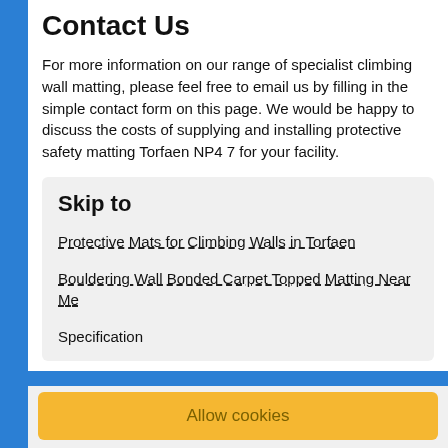Contact Us
For more information on our range of specialist climbing wall matting, please feel free to email us by filling in the simple contact form on this page. We would be happy to discuss the costs of supplying and installing protective safety matting Torfaen NP4 7 for your facility.
Skip to
Protective Mats for Climbing Walls in Torfaen
Bouldering Wall Bonded Carpet Topped Matting Near Me
Specification
Allow cookies